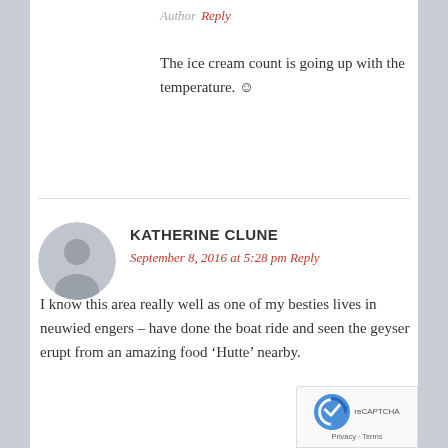Author Reply
The ice cream count is going up with the temperature. ☺
KATHERINE CLUNE
September 8, 2016 at 5:28 pm Reply
I know this area really well as one of my besties lives in neuwied engers – have done the boat ride and seen the geyser erupt from an amazing food 'Hutte' nearby.
MARGARET
September 8, 2016 at 5:35 pm Author Reply
They must have heard me David. Feel at